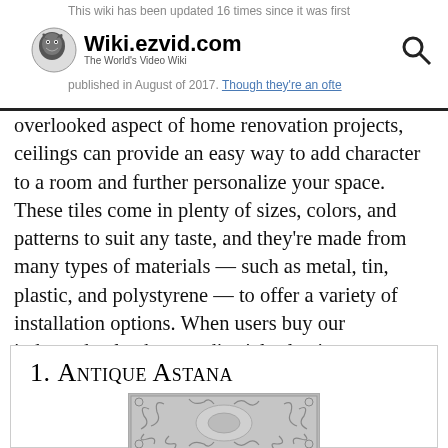This wiki has been updated 16 times since it was first published in August of 2017. Though they're an often overlooked aspect of home renovation projects, Wiki.ezvid.com The World's Video Wiki
overlooked aspect of home renovation projects, ceilings can provide an easy way to add character to a room and further personalize your space. These tiles come in plenty of sizes, colors, and patterns to suit any taste, and they're made from many types of materials — such as metal, tin, plastic, and polystyrene — to offer a variety of installation options. When users buy our independently chosen editorial selections, we may earn commissions to help fund the Wiki.
1. Antique Astana
[Figure (photo): A decorative embossed metallic ceiling tile with ornate scrollwork and floral patterns in silver/grey tones]